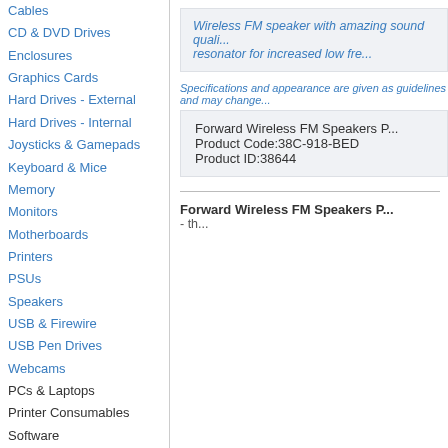Cables
CD & DVD Drives
Enclosures
Graphics Cards
Hard Drives - External
Hard Drives - Internal
Joysticks & Gamepads
Keyboard & Mice
Memory
Monitors
Motherboards
Printers
PSUs
Speakers
USB & Firewire
USB Pen Drives
Webcams
PCs & Laptops
Printer Consumables
Software
Sound & Vision
Special Offers
Wireless FM speaker with amazing sound quality resonator for increased low fre...
Specifications and appearance are given as guidelines and may change...
Forward Wireless FM Speakers P...
Product Code:38C-918-BED
Product ID:38644
Forward Wireless FM Speakers P... - th...